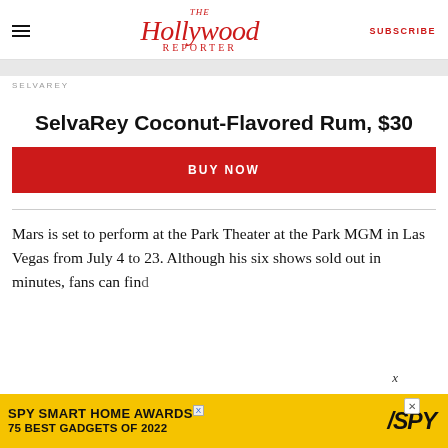The Hollywood Reporter | SUBSCRIBE
SELVAREY
SelvaRey Coconut-Flavored Rum, $30
BUY NOW
Mars is set to perform at the Park Theater at the Park MGM in Las Vegas from July 4 to 23. Although his six shows sold out in minutes, fans can find
[Figure (other): SPY Smart Home Awards advertisement: 75 Best Gadgets of 2022]